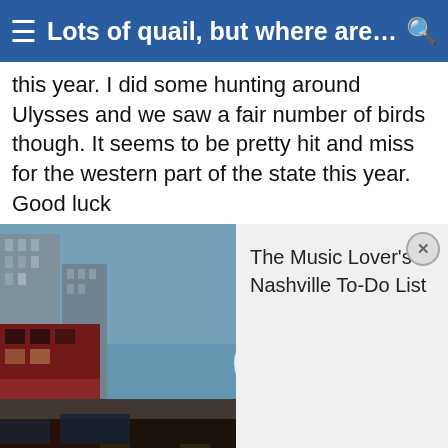≡ Lots of quail, but where are the r... 🔍
this year. I did some hunting around Ulysses and we saw a fair number of birds though. It seems to be pretty hit and miss for the western part of the state this year. Good luck
[Figure (screenshot): Video thumbnail of Nashville city street scene with play button overlay, and an advertisement panel on the right reading 'The Music Lover's Nashville To-Do List' with a close button (×)]
BillBrasky , 01-19-2011 09:04 PM
Fork Horn
Quote:
Originally Posted by cowboycrittergitter
We used to always hunt north of hays and found alot of birds. I have not made it up there for two years though. Parts of western Kansas seem to have good numbers this year, and others are low. I am going to school in the Oklahoma panhandle and our bird numbers are way